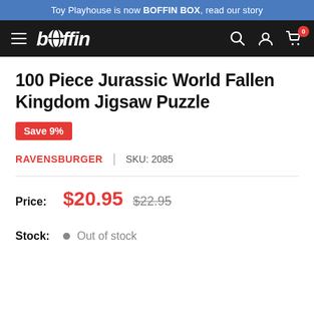Toy Playhouse is now BOFFIN BOX, read our story
[Figure (logo): Boffin Box navigation bar with hamburger menu, boffin logo, search icon, account icon, and cart icon showing 0 items]
100 Piece Jurassic World Fallen Kingdom Jigsaw Puzzle
Save 9%
RAVENSBURGER | SKU: 2085
Price: $20.95 $22.95
Stock: Out of stock